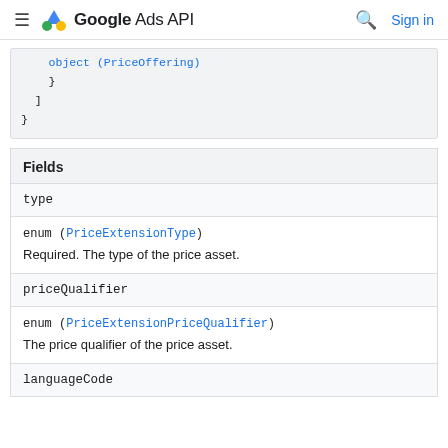Google Ads API | Sign in
object (PriceOffering)
    }
  ]
}
| Fields |
| --- |
| type | enum (PriceExtensionType) | Required. The type of the price asset. |
| priceQualifier | enum (PriceExtensionPriceQualifier) | The price qualifier of the price asset. |
| languageCode |  |  |